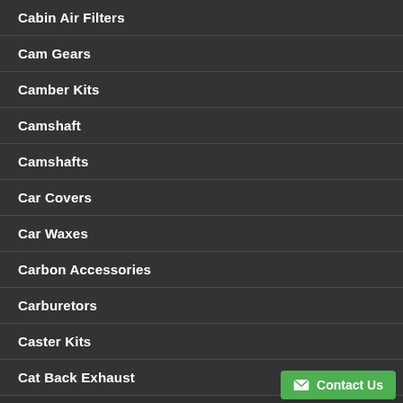Cabin Air Filters
Cam Gears
Camber Kits
Camshaft
Camshafts
Car Covers
Car Waxes
Carbon Accessories
Carburetors
Caster Kits
Cat Back Exhaust